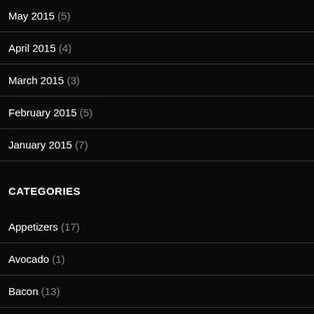May 2015 (5)
April 2015 (4)
March 2015 (3)
February 2015 (5)
January 2015 (7)
CATEGORIES
Appetizers (17)
Avocado (1)
Bacon (13)
Breads (2)
Breakfast (0)